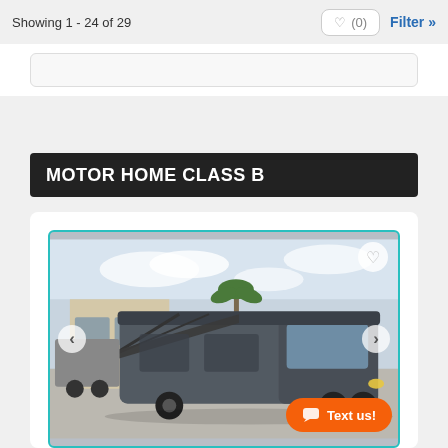Showing 1 - 24 of 29
♡ (0)
Filter »
MOTOR HOME CLASS B
[Figure (photo): A Class B motor home (RV) with awning extended, parked in a lot, photographed from the front-left angle. The RV is dark gray on a Ford Transit chassis. A white heart/favorite icon is in the top right corner. Navigation arrows on left and right sides. An orange 'Text us!' chat button in the bottom right.]